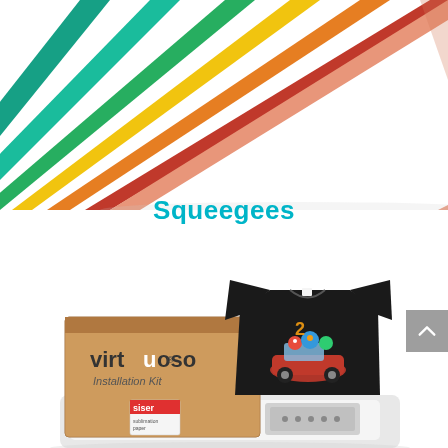[Figure (photo): Colorful foam squeegees fanned out in rainbow colors (orange, teal, green, yellow, red, salmon/peach) on a white background, viewed from above at an angle.]
Squeegees
[Figure (photo): Virtuoso Installation Kit cardboard box with a black t-shirt printed with a colorful cartoon design (characters in a red car), a Sawgrass sublimation printer, and a small Siser brand card in the foreground.]